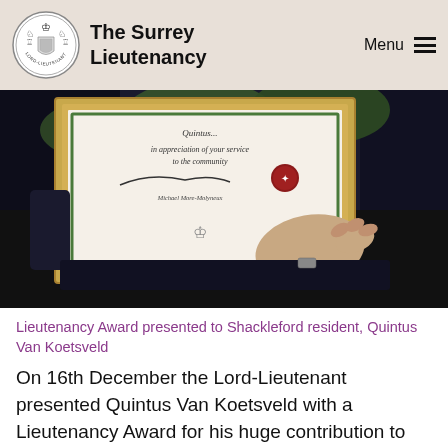The Surrey Lieutenancy
[Figure (photo): A person holding a framed Lieutenancy Award certificate with gold border, text reading 'in appreciation of your service to the community' and signed by Michael More-Molyneux, with a red wax seal and crown emblem.]
Lieutenancy Award presented to Shackleford resident, Quintus Van Koetsveld
On 16th December the Lord-Lieutenant presented Quintus Van Koetsveld with a Lieutenancy Award for his huge contribution to the village [...]